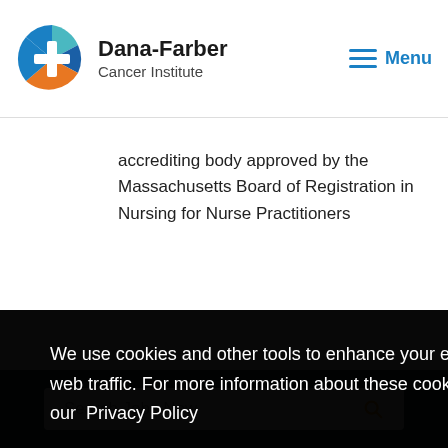[Figure (logo): Dana-Farber Cancer Institute logo with circular multi-color icon and bold organization name]
accrediting body approved by the Massachusetts Board of Registration in Nursing for Nurse Practitioners
We use cookies and other tools to enhance your experience on our website and to analyze our web traffic. For more information about these cookies and the data collected, please refer to our Privacy Policy
Close
Search Jobs Now